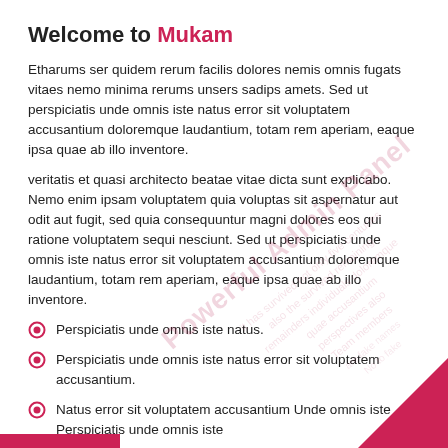Welcome to Mukam
Etharums ser quidem rerum facilis dolores nemis omnis fugats vitaes nemo minima rerums unsers sadips amets. Sed ut perspiciatis unde omnis iste natus error sit voluptatem accusantium doloremque laudantium, totam rem aperiam, eaque ipsa quae ab illo inventore.
veritatis et quasi architecto beatae vitae dicta sunt explicabo. Nemo enim ipsam voluptatem quia voluptas sit aspernatur aut odit aut fugit, sed quia consequuntur magni dolores eos qui ratione voluptatem sequi nesciunt. Sed ut perspiciatis unde omnis iste natus error sit voluptatem accusantium doloremque laudantium, totam rem aperiam, eaque ipsa quae ab illo inventore.
Perspiciatis unde omnis iste natus.
Perspiciatis unde omnis iste natus error sit voluptatem accusantium.
Natus error sit voluptatem accusantium Unde omnis iste Perspiciatis unde omnis iste